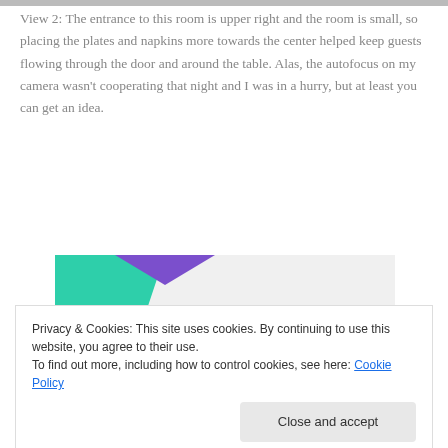View 2: The entrance to this room is upper right and the room is small, so placing the plates and napkins more towards the center helped keep guests flowing through the door and around the table. Alas, the autofocus on my camera wasn't cooperating that night and I was in a hurry, but at least you can get an idea.
[Figure (illustration): Advertisement banner with teal and purple triangles on grey background reading 'How to start selling subscriptions online' in bold black text with a blue curved shape on the right.]
Privacy & Cookies: This site uses cookies. By continuing to use this website, you agree to their use.
To find out more, including how to control cookies, see here: Cookie Policy
Close and accept